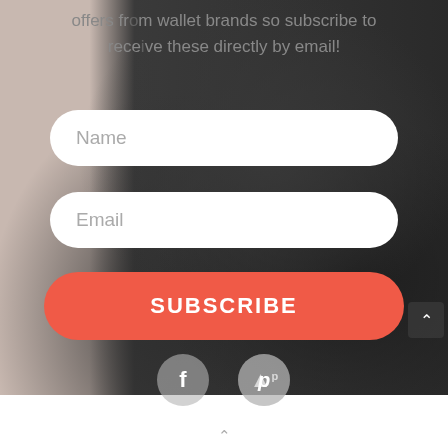offers from wallet brands so subscribe to receive these directly by email!
[Figure (screenshot): Email subscription form with Name and Email input fields, a red SUBSCRIBE button, and social media icons (Facebook, Pinterest) on a dark leather wallet background]